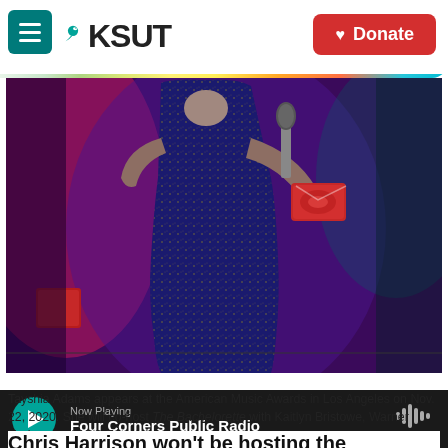KSUT | Donate
[Figure (photo): Person in sparkly navy blue dress holding a microphone and a red envelope/box on a stage with pink and purple lighting — appears to be at the American Music Awards]
Chris Pizzello / Invision
Tayshia Adams appears at the American Music Awards in Los Angeles on Nov. 22, 2020. She will co-host The Bachelorette with Kaitlyn Bristowe, Warner Horizon and ABC Entertainment announced.
Chris Harrison won't be hosting the upcoming
Now Playing  Four Corners Public Radio